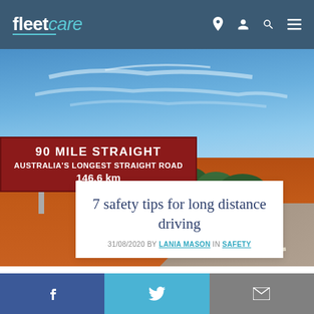fleetcare — navigation header with logo and icons
[Figure (photo): Photo of a red road sign reading '90 MILE STRAIGHT / AUSTRALIA'S LONGEST STRAIGHT ROAD / 146.6 km' with red outback landscape and blue sky in the background]
7 safety tips for long distance driving
31/08/2020 BY LANIA MASON IN SAFETY
Social share bar: Facebook, Twitter, Email